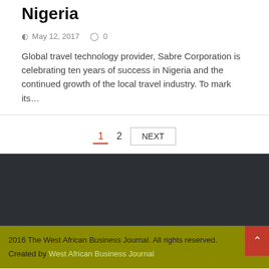Nigeria
May 12, 2017   0
Global travel technology provider, Sabre Corporation is celebrating ten years of success in Nigeria and the continued growth of the local travel industry. To mark its…
1  2  NEXT
2016 The West African Business Journal. All rights reserved. Created by West African Business Journal